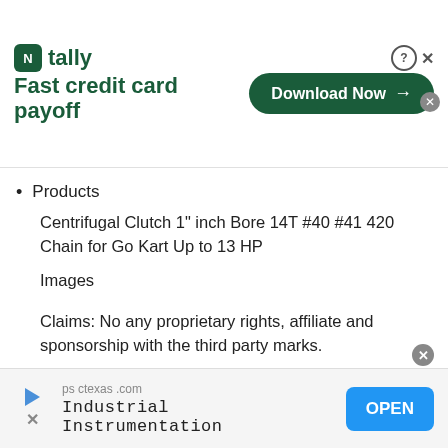[Figure (infographic): Tally app advertisement banner with logo, 'Fast credit card payoff' tagline and 'Download Now' button]
Products
Centrifugal Clutch 1" inch Bore 14T #40 #41 420 Chain for Go Kart Up to 13 HP
Images
Claims: No any proprietary rights, affiliate and sponsorship with the third party marks.
Note: Any Free Shipping Promotion is Valid to the 48 contiguous states. for Alaska, Hawaii, Puerto Rico, Guam,Virgin Islands and Samoa, extra shipping fee will be
[Figure (infographic): psctexas.com Industrial Instrumentation advertisement with OPEN button]